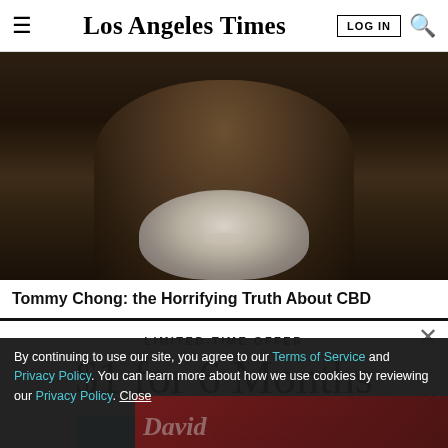Los Angeles Times | LOG IN
[Figure (photo): Close-up photo of an older bearded man in a dark shirt, dimly lit background]
Tommy Chong: the Horrifying Truth About CBD
LIMITED-TIME OFFER
$1 for 6 Months
SUBSCRIBE NOW
By continuing to use our site, you agree to our Terms of Service and Privacy Policy. You can learn more about how we use cookies by reviewing our Privacy Policy. Close